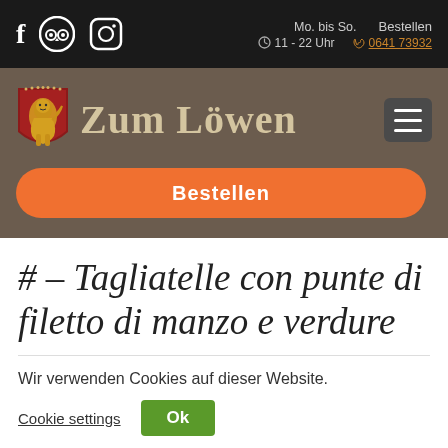Mo. bis So.  11 - 22 Uhr  Bestellen  0641 73932
[Figure (logo): Zum Löwen restaurant logo with lion shield and gothic text, orange Bestellen button]
# – Tagliatelle con punte di filetto di manzo e verdure
Wir verwenden Cookies auf dieser Website.
Cookie settings  Ok